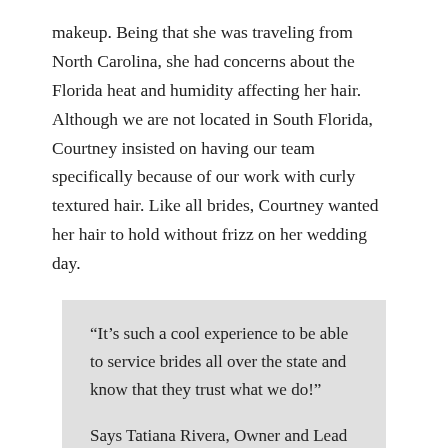makeup. Being that she was traveling from North Carolina, she had concerns about the Florida heat and humidity affecting her hair. Although we are not located in South Florida, Courtney insisted on having our team specifically because of our work with curly textured hair. Like all brides, Courtney wanted her hair to hold without frizz on her wedding day.
“It’s such a cool experience to be able to service brides all over the state and know that they trust what we do!”
Says Tatiana Rivera, Owner and Lead Stylist of GAD Artistry.